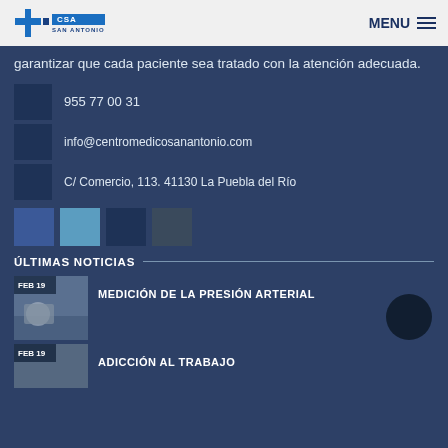Clínica San Antonio — MENU
garantizar que cada paciente sea tratado con la atención adecuada.
955 77 00 31
info@centromedicosanantonio.com
C/ Comercio, 113. 41130 La Puebla del Río
ÚLTIMAS NOTICIAS
FEB 19 — MEDICIÓN DE LA PRESIÓN ARTERIAL
FEB 19 — ADICCIÓN AL TRABAJO